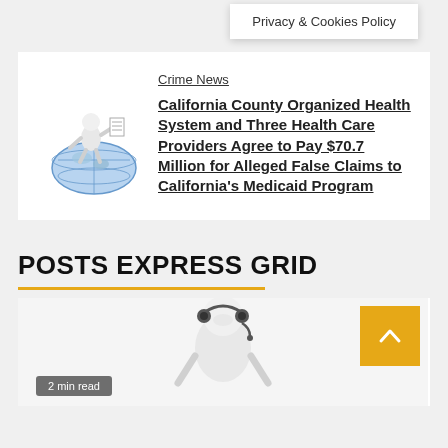Privacy & Cookies Policy
Crime News
California County Organized Health System and Three Health Care Providers Agree to Pay $70.7 Million for Alleged False Claims to California's Medicaid Program
POSTS EXPRESS GRID
[Figure (illustration): A white robot/human figure sitting on top of a globe, reading or working, representing news or information]
[Figure (illustration): A white robot figure with a headset, representing a customer service or call center agent]
2 min read